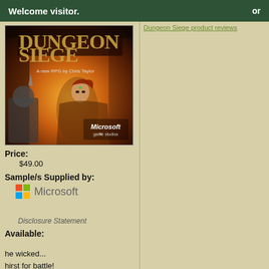Welcome visitor.  or  Dungeon Siege product reviews
[Figure (photo): Dungeon Siege game cover art — A new RPG by Chris Taylor, Microsoft Game Studios]
Price:
$49.00
Sample/s Supplied by:
[Figure (logo): Microsoft logo with four-color Windows flag grid and Microsoft text]
Disclosure Statement
Available:
he wicked...  hirst for battle!